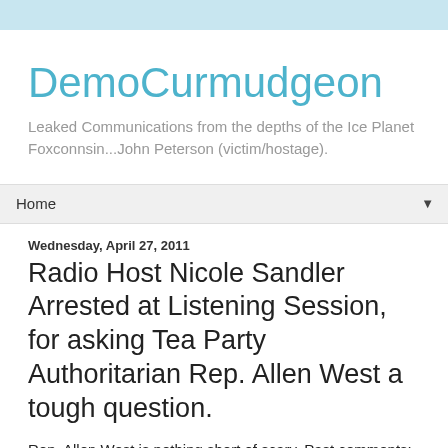DemoCurmudgeon
Leaked Communications from the depths of the Ice Planet Foxconnsin...John Peterson (victim/hostage).
Home
Wednesday, April 27, 2011
Radio Host Nicole Sandler Arrested at Listening Session, for asking Tea Party Authoritarian Rep. Allen West a tough question.
Rep. Allen West is nothing short of scary. Past comments: